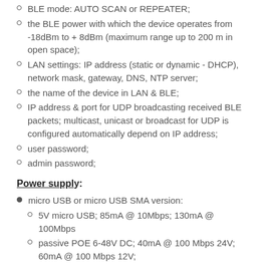BLE mode: AUTO SCAN or REPEATER;
the BLE power with which the device operates from -18dBm to + 8dBm (maximum range up to 200 m in open space);
LAN settings: IP address (static or dynamic - DHCP), network mask, gateway, DNS, NTP server;
the name of the device in LAN & BLE;
IP address & port for UDP broadcasting received BLE packets; multicast, unicast or broadcast for UDP is configured automatically depend on IP address;
user password;
admin password;
Power supply:
micro USB or micro USB SMA version:
5V micro USB; 85mA @ 10Mbps; 130mA @ 100Mbps
passive POE 6-48V DC; 40mA @ 100 Mbps 24V; 60mA @ 100 Mbps 12V;